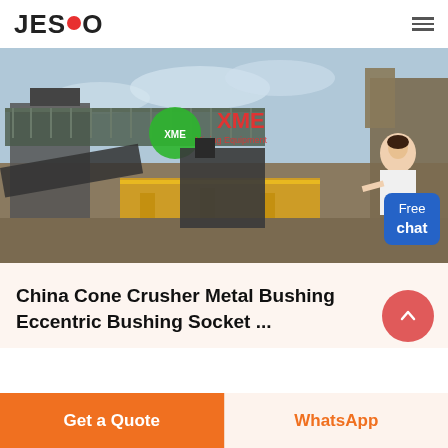JESCO
[Figure (photo): Industrial mining/crushing plant with XME logo overlay, showing large machinery, conveyor belts, yellow equipment, and a female chat assistant character with a 'Free chat' blue badge]
China Cone Crusher Metal Bushing Eccentric Bushing Socket ...
Get a Quote
WhatsApp